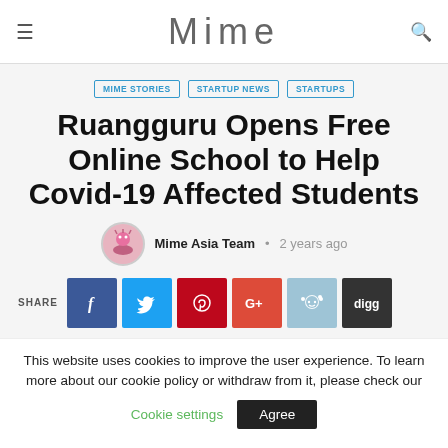Mime
MIME STORIES
STARTUP NEWS
STARTUPS
Ruangguru Opens Free Online School to Help Covid-19 Affected Students
Mime Asia Team • 2 years ago
SHARE
This website uses cookies to improve the user experience. To learn more about our cookie policy or withdraw from it, please check our
Cookie settings
Agree